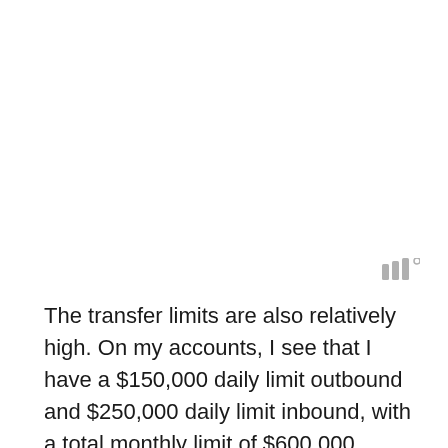[Figure (other): Small gray icon or logo mark in the upper right area of the page]
The transfer limits are also relatively high. On my accounts, I see that I have a $150,000 daily limit outbound and $250,000 daily limit inbound, with a total monthly limit of $600,000 outbound and $1,000,000 inbound. Keeping in mind that all savings accounts from any bank are limited to six withdrawals